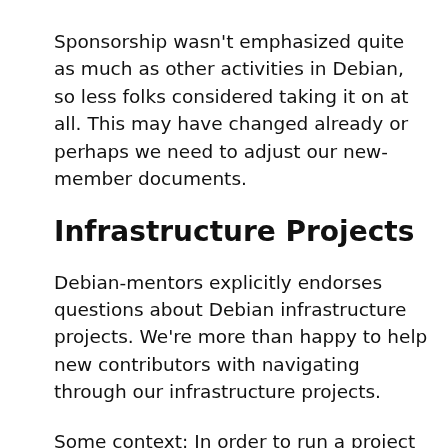Sponsorship wasn't emphasized quite as much as other activities in Debian, so less folks considered taking it on at all. This may have changed already or perhaps we need to adjust our new-member documents.
Infrastructure Projects
Debian-mentors explicitly endorses questions about Debian infrastructure projects. We're more than happy to help new contributors with navigating through our infrastructure projects.
Some context: In order to run a project as big as Debian, a lot of infrastructure work is needed. Often, the Debian infrastructure teams had to write custom software for running our infrastructure as no Free Software solution existed beforehand. These software